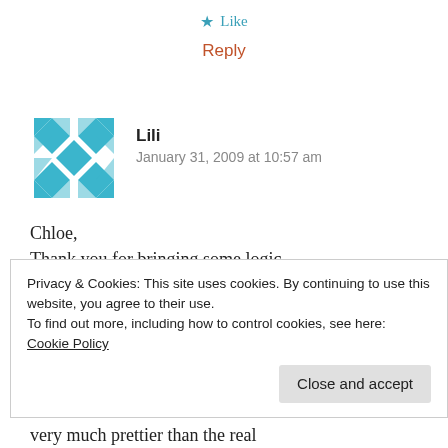★ Like
Reply
[Figure (illustration): Teal/blue quilt-pattern avatar icon for user Lili]
Lili
January 31, 2009 at 10:57 am
Chloe,
Thank you for bringing some logic into the discussion. My only point was that I am not a fan of simulated diamonds and I think that the pretence is made apparent
Privacy & Cookies: This site uses cookies. By continuing to use this website, you agree to their use.
To find out more, including how to control cookies, see here: Cookie Policy
Close and accept
very much prettier than the real